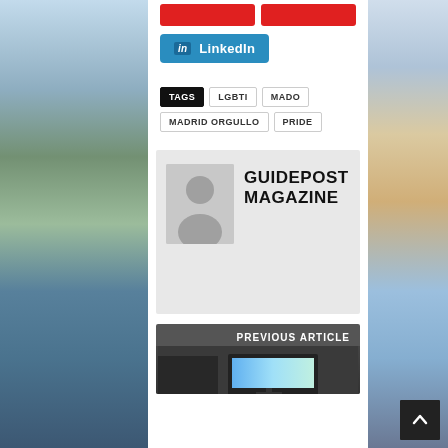[Figure (screenshot): LinkedIn share button (blue background with 'in' badge and 'LinkedIn' text)]
TAGS  LGBTI  MADO  MADRID ORGULLO  PRIDE
[Figure (illustration): Author box with grey avatar placeholder silhouette and author name GUIDEPOST MAGAZINE]
GUIDEPOST MAGAZINE
[Figure (screenshot): Previous article thumbnail showing a dark image with a screen displaying colorful content, labeled PREVIOUS ARTICLE]